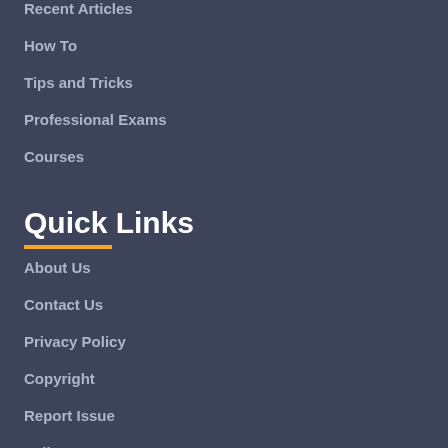Recent Articles
How To
Tips and Tricks
Professional Exams
Courses
Quick Links
About Us
Contact Us
Privacy Policy
Copyright
Report Issue
Follow Us